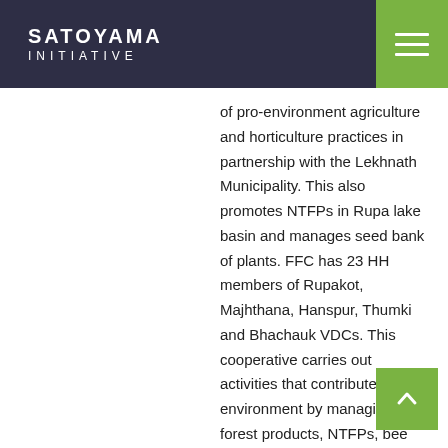SATOYAMA INITIATIVE
of pro-environment agriculture and horticulture practices in partnership with the Lekhnath Municipality. This also promotes NTFPs in Rupa lake basin and manages seed bank of plants. FFC has 23 HH members of Rupakot, Majhthana, Hanspur, Thumki and Bhachauk VDCs. This cooperative carries out activities that contribute to lake environment by managing forest products, NTFPs, bee farming, animal husbandry and so on. RLRFC by name itself is a cooperative committed to restore physical and biodiversity